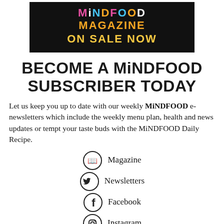[Figure (logo): MiNDFOOD Magazine On Sale Now banner with colorful text on black background]
BECOME A MiNDFOOD SUBSCRIBER TODAY
Let us keep you up to date with our weekly MiNDFOOD e-newsletters which include the weekly menu plan, health and news updates or tempt your taste buds with the MiNDFOOD Daily Recipe.
Magazine
Newsletters
Facebook
Instagram